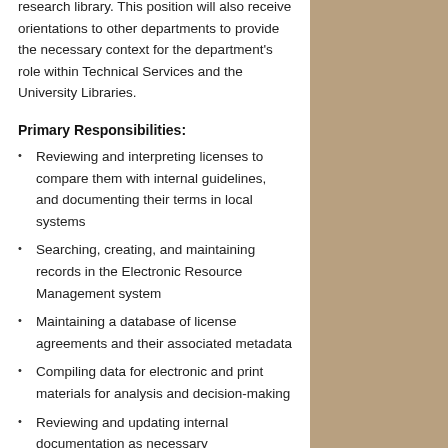research library. This position will also receive orientations to other departments to provide the necessary context for the department's role within Technical Services and the University Libraries.
Primary Responsibilities:
Reviewing and interpreting licenses to compare them with internal guidelines, and documenting their terms in local systems
Searching, creating, and maintaining records in the Electronic Resource Management system
Maintaining a database of license agreements and their associated metadata
Compiling data for electronic and print materials for analysis and decision-making
Reviewing and updating internal documentation as necessary